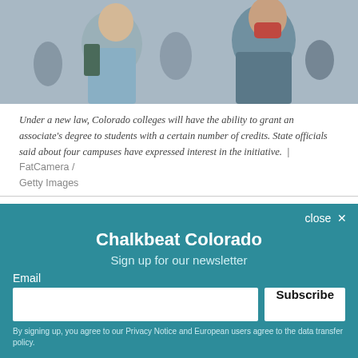[Figure (photo): Students walking, one wearing a face mask and carrying a backpack, another in a light blue shirt also with a backpack, in an indoor campus setting.]
Under a new law, Colorado colleges will have the ability to grant an associate's degree to students with a certain number of credits. State officials said about four campuses have expressed interest in the initiative.  |  FatCamera / Getty Images
Over 13,000 Colorado residents have earned more than 70 college credits at four-year universities but stopped short of a degree, Colorado Department of Higher Education data show.
Chalkbeat Colorado
Sign up for our newsletter
Email
Subscribe
By signing up, you agree to our Privacy Notice and European users agree to the data transfer policy.